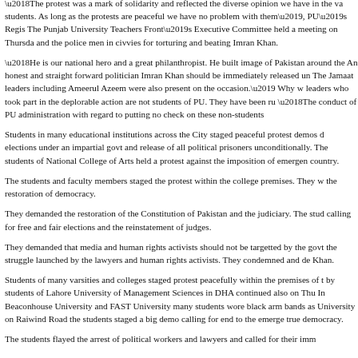'The protest was a mark of solidarity and reflected the diverse opinion we have in the va... students. As long as the protests are peaceful we have no problem with them', PU's Regis... The Punjab University Teachers Front's Executive Committee held a meeting on Thursda... and the police men in civvies for torturing and beating Imran Khan.
'He is our national hero and a great philanthropist. He built image of Pakistan around the... An honest and straight forward politician Imran Khan should be immediately released un... The Jamaat leaders including Ameerul Azeem were also present on the occasion.' Why w... leaders who took part in the deplorable action are not students of PU. They have been ru... 'The conduct of PU administration with regard to putting no check on these non-students...
Students in many educational institutions across the City staged peaceful protest demos d... elections under an impartial govt and release of all political prisoners unconditionally. The students of National College of Arts held a protest against the imposition of emergen... country.
The students and faculty members staged the protest within the college premises. They w... the restoration of democracy.
They demanded the restoration of the Constitution of Pakistan and the judiciary. The stud... calling for free and fair elections and the reinstatement of judges.
They demanded that media and human rights activists should not be targetted by the govt... the struggle launched by the lawyers and human rights activists. They condemned and de... Khan.
Students of many varsities and colleges staged protest peacefully within the premises of t... by students of Lahore University of Management Sciences in DHA continued also on Thu... In Beaconhouse University and FAST University many students wore black arm bands as... University on Raiwind Road the students staged a big demo calling for end to the emerge... true democracy.
The students flayed the arrest of political workers and lawyers and called for their imm...